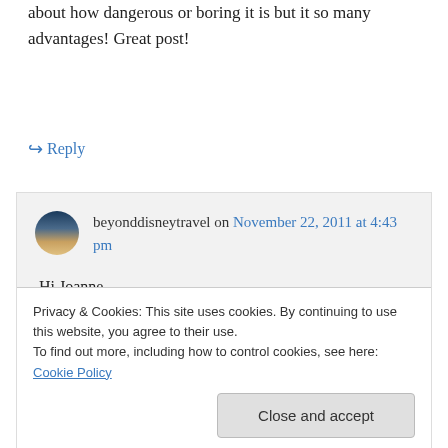about how dangerous or boring it is but it so many advantages! Great post!
↪ Reply
beyonddisneytravel on November 22, 2011 at 4:43 pm
Hi Joanne,
Thanks for reading and for the comment. I find travelling alone to be one of the most
Privacy & Cookies: This site uses cookies. By continuing to use this website, you agree to their use. To find out more, including how to control cookies, see here: Cookie Policy
Close and accept